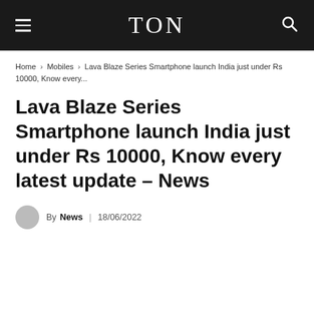TON
Home › Mobiles › Lava Blaze Series Smartphone launch India just under Rs 10000, Know every...
Lava Blaze Series Smartphone launch India just under Rs 10000, Know every latest update – News
By News   18/06/2022